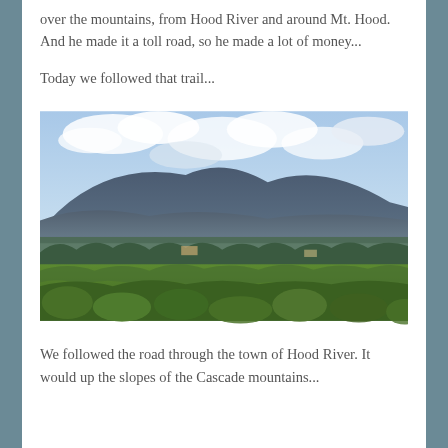over the mountains, from Hood River and around Mt. Hood. And he made it a toll road, so he made a lot of money...
Today we followed that trail...
[Figure (photo): Landscape photograph showing green vineyard or crop fields in the foreground, a band of evergreen trees in the middle distance, and a broad mountain (possibly Mt. Hood area) under a partly cloudy blue sky.]
We followed the road through the town of Hood River. It would up the slopes of the Cascade mountains...